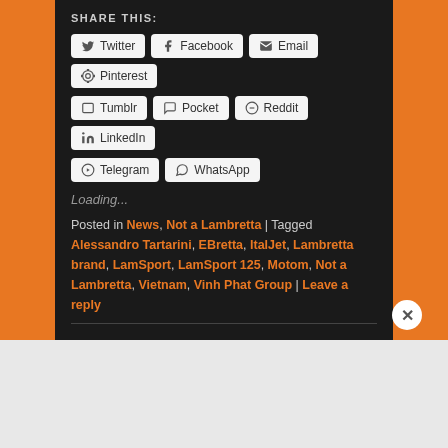SHARE THIS:
Twitter
Facebook
Email
Pinterest
Tumblr
Pocket
Reddit
LinkedIn
Telegram
WhatsApp
Loading...
Posted in News, Not a Lambretta | Tagged Alessandro Tartarini, EBretta, ItalJet, Lambretta brand, LamSport, LamSport 125, Motom, Not a Lambretta, Vietnam, Vinh Phat Group | Leave a reply
Advertisements
[Figure (screenshot): DuckDuckGo advertisement: Search, browse, and email with more privacy. All in One Free App. Shows DuckDuckGo logo on a phone.]